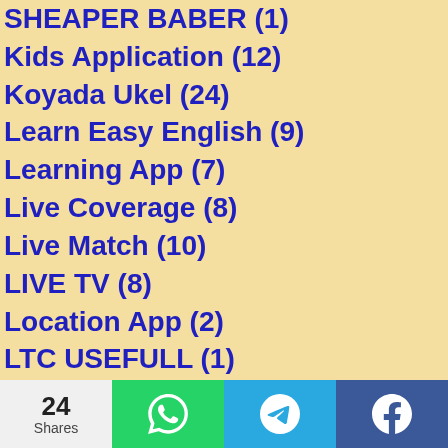SHEAPER BABER (1)
Kids Application (12)
Koyada Ukel (24)
Learn Easy English (9)
Learning App (7)
Live Coverage (8)
Live Match (10)
LIVE TV (8)
Location App (2)
LTC USEFULL (1)
MASVAR AYOJAN (2)
Mobile Tips (12)
Model Papers (1)
NEP INGO (1)
News App (1)
NEWS REPORT (154)
NEWSPAPER (3)
24 Shares | WhatsApp | Telegram | Facebook